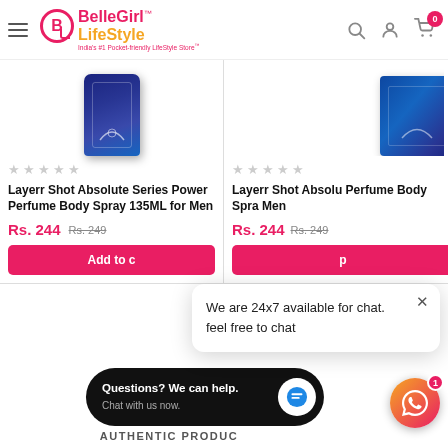[Figure (screenshot): BelleGirl LifeStyle e-commerce website header with logo, hamburger menu, search, user, and cart icons]
[Figure (photo): Layerr Shot Absolute Series Power Perfume Body Spray 135ML for Men - blue bottle product image]
★ ★ ★ ★ ★
Layerr Shot Absolute Series Power Perfume Body Spray 135ML for Men
Rs. 244  Rs. 249
Add to cart
[Figure (photo): Layerr Shot Absolute Series Perfume Body Spray for Men - partial blue product image (right card)]
★ ★ ★ ★ ★
Layerr Shot Absolute Perfume Body Spray for Men
Rs. 244  Rs. 249
We are 24x7 available for chat. feel free to chat
Questions? We can help. Chat with us now.
AUTHENTIC PRODUCTS